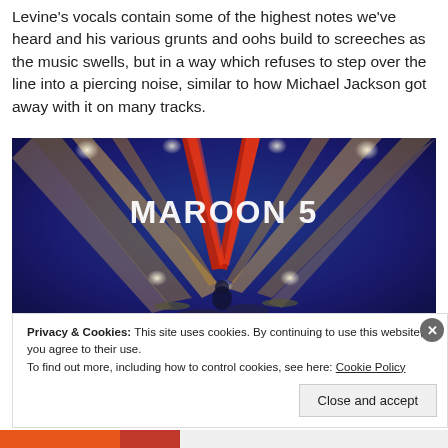Levine's vocals contain some of the highest notes we've heard and his various grunts and oohs build to screeches as the music swells, but in a way which refuses to step over the line into a piercing noise, similar to how Michael Jackson got away with it on many tracks.
[Figure (photo): Concert photo of Maroon 5 performance with dramatic stage lighting — colored laser beams (red, gold, blue) radiating outward against a dark blue background, with 'MAROON 5' text visible in the upper center. A drummer is visible at the lower center of the stage.]
Privacy & Cookies: This site uses cookies. By continuing to use this website, you agree to their use.
To find out more, including how to control cookies, see here: Cookie Policy
Close and accept